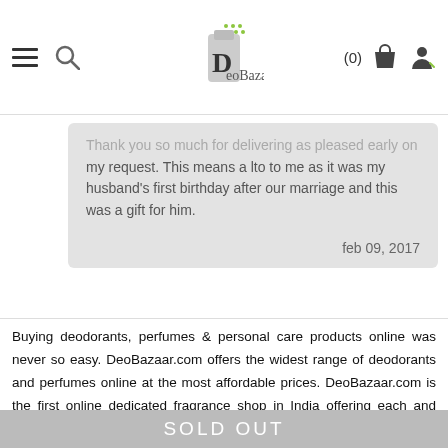DeoBazaar (0)
Thank you so much for delivering as pleased early on my request. This means a lto to me as it was my husband's first birthday after our marriage and this was a gift for him.

feb 09, 2017
Buying deodorants, perfumes & personal care products online was never so easy. DeoBazaar.com offers the widest range of deodorants and perfumes online at the most affordable prices. DeoBazaar.com is the first online dedicated fragrance shop in India offering each and every detail about fragrance before you purchase your favourite deodorants online. DeoBazaar.com offers more than 2000 mass and premium daily wear deodorants & perfumes online in India covering all international brands like Brut, Reebok, Beverly Hills Polo Club, United Colors of
SOLD OUT